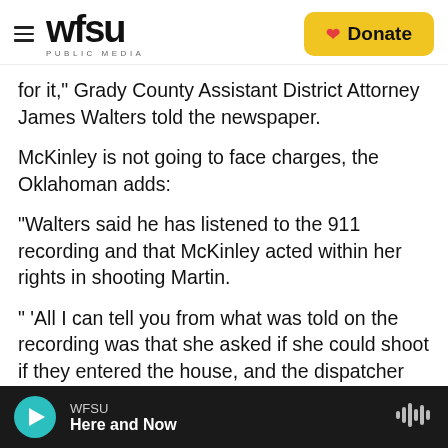wfsu PUBLIC MEDIA | Donate
for it," Grady County Assistant District Attorney James Walters told the newspaper.
McKinley is not going to face charges, the Oklahoman adds:
"Walters said he has listened to the 911 recording and that McKinley acted within her rights in shooting Martin.
" 'All I can tell you from what was told on the recording was that she asked if she could shoot if they entered the house, and the dispatcher advised her that she couldn't tell her what to do, that she
WFSU | Here and Now